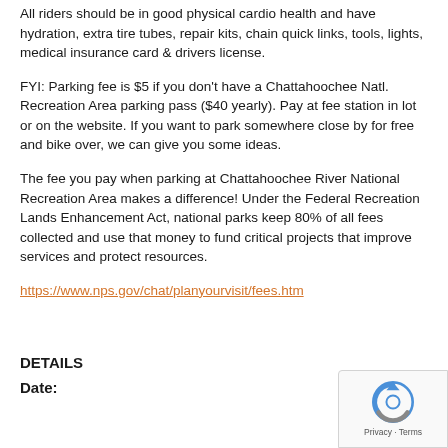All riders should be in good physical cardio health and have hydration, extra tire tubes, repair kits, chain quick links, tools, lights, medical insurance card & drivers license.
FYI: Parking fee is $5 if you don't have a Chattahoochee Natl. Recreation Area parking pass ($40 yearly). Pay at fee station in lot or on the website. If you want to park somewhere close by for free and bike over, we can give you some ideas.
The fee you pay when parking at Chattahoochee River National Recreation Area makes a difference! Under the Federal Recreation Lands Enhancement Act, national parks keep 80% of all fees collected and use that money to fund critical projects that improve services and protect resources.
https://www.nps.gov/chat/planyourvisit/fees.htm
DETAILS
Date: